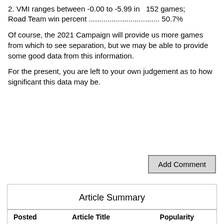2. VMI ranges between -0.00 to -5.99 in  152 games; Road Team win percent .................................. 50.7%
Of course, the 2021 Campaign will provide us more games from which to see separation, but we may be able to provide some good data from this information.
For the present, you are left to your own judgement as to how significant this data may be.
Add Comment
| Posted | Article Title | Popularity |
| --- | --- | --- |